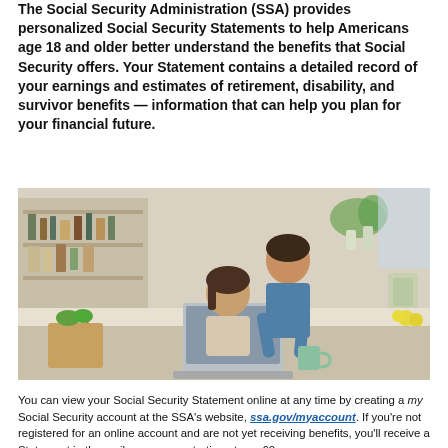The Social Security Administration (SSA) provides personalized Social Security Statements to help Americans age 18 and older better understand the benefits that Social Security offers. Your Statement contains a detailed record of your earnings and estimates of retirement, disability, and survivor benefits — information that can help you plan for your financial future.
[Figure (photo): A man standing behind a woman who is sitting at a kitchen table, both looking at a laptop screen. Kitchen shelves with items in the background.]
You can view your Social Security Statement online at any time by creating a my Social Security account at the SSA's website, ssa.gov/myaccount. If you're not registered for an online account and are not yet receiving benefits, you'll receive a Statement in the mail every year, starting at age 60.